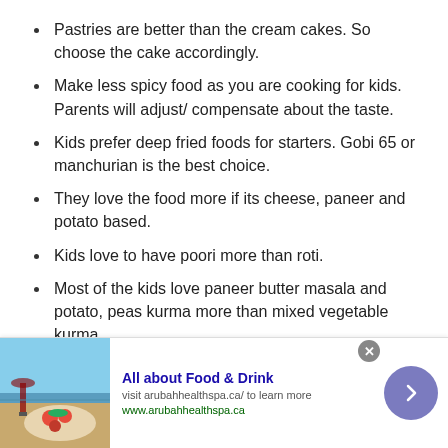Pastries are better than the cream cakes. So choose the cake accordingly.
Make less spicy food as you are cooking for kids. Parents will adjust/ compensate about the taste.
Kids prefer deep fried foods for starters. Gobi 65 or manchurian is the best choice.
They love the food more if its cheese, paneer and potato based.
Kids love to have poori more than roti.
Most of the kids love paneer butter masala and potato, peas kurma more than mixed vegetable kurma.
Always keep some plain rice, dal and rasam to
[Figure (infographic): Ad banner: food and drink photo with wine glass and bruschetta on beach background. Text: All about Food & Drink. visit arubahhealthspa.ca/ to learn more. www.arubahhealthspa.ca. Arrow button on right.]